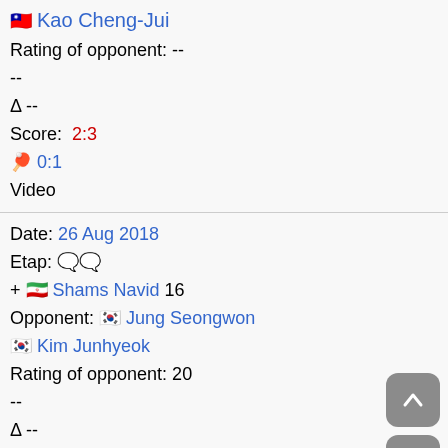🇹🇼 Kao Cheng-Jui
Rating of opponent: --
--
Δ --
Score: 2:3
🏓 0:1
Video
Date: 26 Aug 2018
Etap: 💬💬
+ 🇮🇷 Shams Navid 16
Opponent: 🇰🇷 Jung Seongwon
🇰🇷 Kim Junhyeok
Rating of opponent: 20
--
Δ --
Score: 3:1
🏓 1:0
Video